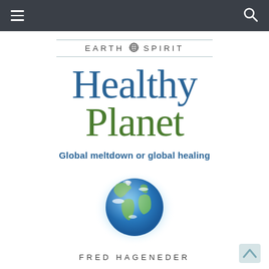[Figure (screenshot): Navigation bar with hamburger menu icon on left and search icon on right, dark gray background]
EARTH SPIRIT
Healthy Planet
Global meltdown or global healing
[Figure (illustration): Globe/Earth illustration showing Americas, with blue atmospheric glow radiating outward on white background]
FRED HAGENEDER